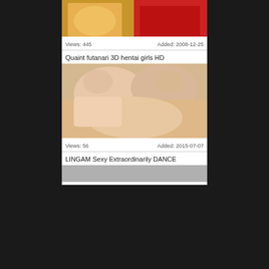[Figure (photo): Partial top of video thumbnail showing people]
Views: 445                         Added: 2008-12-25
Quaint futanari 3D hentai girls HD
[Figure (photo): 3D hentai animation thumbnail]
Views: 56                         Added: 2015-07-07
LINGAM Sexy Extraordinarily DANCE
[Figure (photo): Gray placeholder thumbnail]